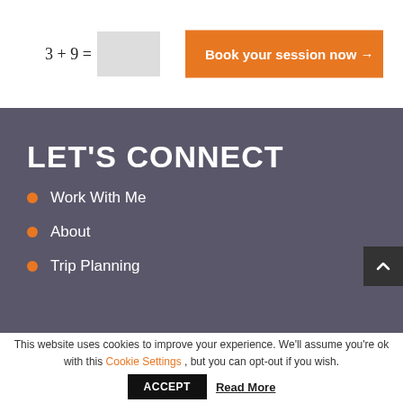3 + 9 =
[Figure (other): CAPTCHA input box (gray rectangle)]
Book your session now →
LET'S CONNECT
Work With Me
About
Trip Planning
This website uses cookies to improve your experience. We'll assume you're ok with this Cookie Settings , but you can opt-out if you wish.
ACCEPT
Read More